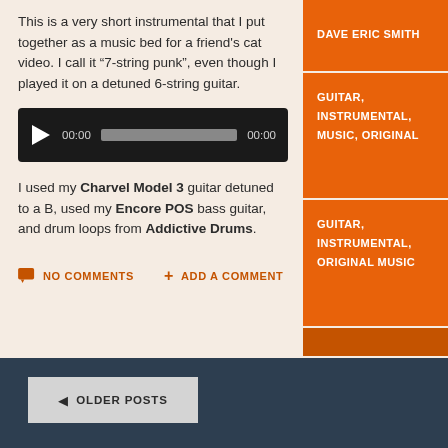This is a very short instrumental that I put together as a music bed for a friend's cat video.  I call it ‘7-string punk’, even though I played it on a detuned 6-string guitar.
[Figure (screenshot): Audio player with play button, time display 00:00, progress bar, and end time 00:00]
I used my Charvel Model 3 guitar detuned to a B, used my Encore POS bass guitar, and drum loops from Addictive Drums.
NO COMMENTS
ADD A COMMENT
DAVE ERIC SMITH
GUITAR, INSTRUMENTAL, MUSIC, ORIGINAL
GUITAR, INSTRUMENTAL, ORIGINAL MUSIC
◄ OLDER POSTS